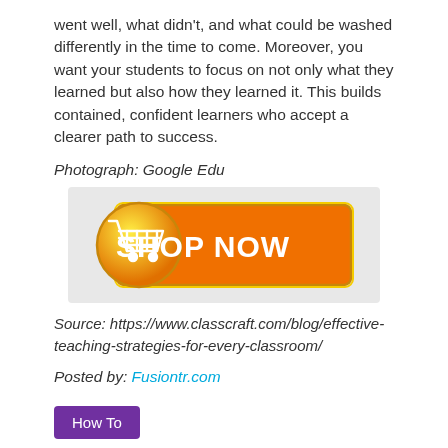went well, what didn't, and what could be washed differently in the time to come. Moreover, you want your students to focus on not only what they learned but also how they learned it. This builds contained, confident learners who accept a clearer path to success.
Photograph: Google Edu
[Figure (illustration): Orange 'Shop Now' button with a shopping cart icon on a circular orange/yellow background, displayed on a light grey panel]
Source: https://www.classcraft.com/blog/effective-teaching-strategies-for-every-classroom/
Posted by: Fusiontr.com
How To